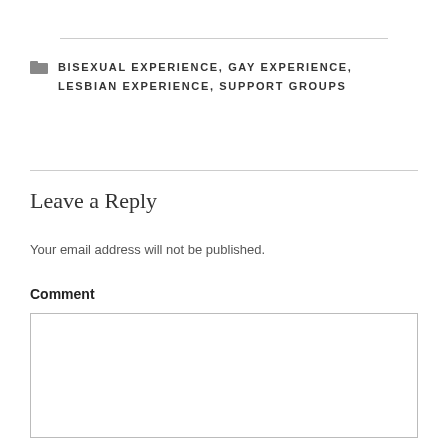BISEXUAL EXPERIENCE, GAY EXPERIENCE, LESBIAN EXPERIENCE, SUPPORT GROUPS
Leave a Reply
Your email address will not be published.
Comment